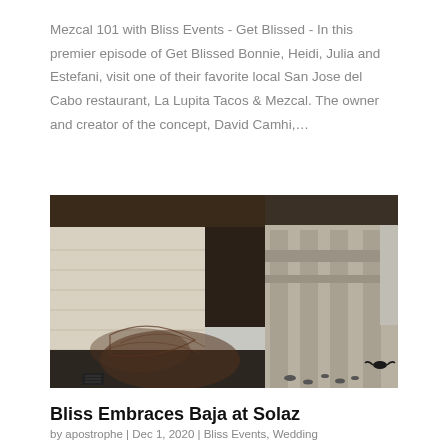Mezcal 101 with Bliss Events - Get Blissed - In this premier episode of Get Blissed Bonnie, Heidi, Julia and Estefani, visit one of their favorite local San Jose del Cabo restaurant, La Lupita Tacos & Mezcal. The owner and creator of the concept, David Camhi,...
[Figure (photo): Exterior architectural photo of a modern building with concrete and stone walls, columns, open-air design, with a decorative wire sculpture in the foreground and the sea visible in the background.]
Bliss Embraces Baja at Solaz
by apostrophe | Dec 1, 2020 | Bliss Events, Wedding